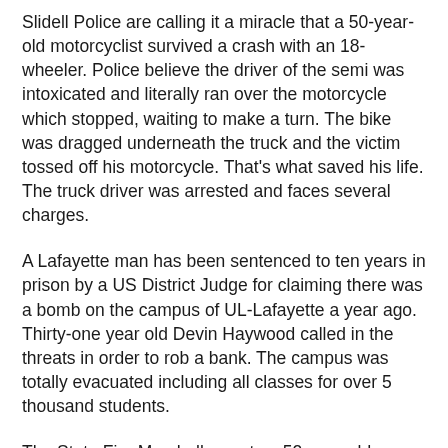Slidell Police are calling it a miracle that a 50-year-old motorcyclist survived a crash with an 18-wheeler. Police believe the driver of the semi was intoxicated and literally ran over the motorcycle which stopped, waiting to make a turn. The bike was dragged underneath the truck and the victim tossed off his motorcycle. That's what saved his life. The truck driver was arrested and faces several charges.
A Lafayette man has been sentenced to ten years in prison by a US District Judge for claiming there was a bomb on the campus of UL-Lafayette a year ago. Thirty-one year old Devin Haywood called in the threats in order to rob a bank. The campus was totally evacuated including all classes for over 5 thousand students.
The State Fire Marshall reports a 52-year-old DeRidder man died early Tuesday in a fire at his home. The body of Paul Ashworth was found on his bedroom floor next to his bed. Investigators were informed by family members of the victim that Ashworth was a heavy smoker who habitually smoked while in bed.